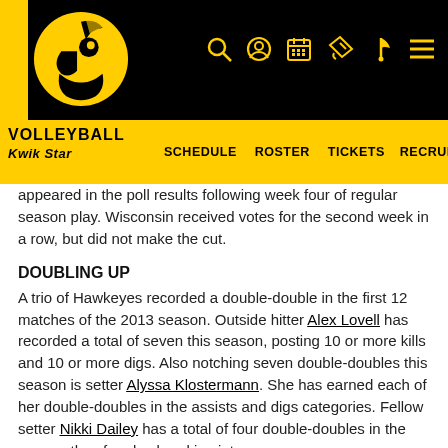[Figure (logo): University of Iowa Hawkeyes athletic website header with black background, yellow vertical stripe, Hawkeye logo, and navigation icons (search, account, calendar, ticket, fan, menu)]
VOLLEYBALL KWIK STAR  SCHEDULE  ROSTER  TICKETS  RECRUITING
appeared in the poll results following week four of regular season play. Wisconsin received votes for the second week in a row, but did not make the cut.
DOUBLING UP
A trio of Hawkeyes recorded a double-double in the first 12 matches of the 2013 season. Outside hitter Alex Lovell has recorded a total of seven this season, posting 10 or more kills and 10 or more digs. Also notching seven double-doubles this season is setter Alyssa Klostermann. She has earned each of her double-doubles in the assists and digs categories. Fellow setter Nikki Dailey has a total of four double-doubles in the season thus far also breaking into